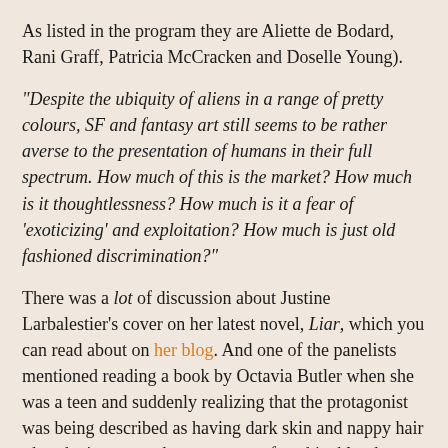As listed in the program they are Aliette de Bodard, Rani Graff, Patricia McCracken and Doselle Young).
"Despite the ubiquity of aliens in a range of pretty colours, SF and fantasy art still seems to be rather averse to the presentation of humans in their full spectrum. How much of this is the market? How much is it thoughtlessness? How much is it a fear of 'exoticizing' and exploitation? How much is just old fashioned discrimination?"
There was a lot of discussion about Justine Larbalestier's cover on her latest novel, Liar, which you can read about on her blog. And one of the panelists mentioned reading a book by Octavia Butler when she was a teen and suddenly realizing that the protagonist was being described as having dark skin and nappy hair - but the image on the cover was of a white blond woman. I knew exactly what she was talking about, because I had that same experience with the very same book, and I remember feeling betrayed by the publisher. At the time I assumed the artist hadn't bothered to read the book, but later of course I learned that it is all about the money, of course. Although one of the panelists said that